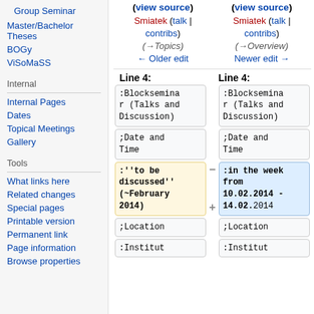Group Seminar
Master/Bachelor Theses
BOGy
ViSoMaSS
Internal
Internal Pages
Dates
Topical Meetings
Gallery
Tools
What links here
Related changes
Special pages
Printable version
Permanent link
Page information
Browse properties
(view source) Smiatek (talk | contribs) (→Topics) ← Older edit
(view source) Smiatek (talk | contribs) (→Overview) Newer edit →
Line 4:
Line 4:
:Blockseminar (Talks and Discussion)
:Blockseminar (Talks and Discussion)
;Date and Time
;Date and Time
:''to be discussed'' (~February 2014)
:in the week from 10.02.2014 - 14.02.2014
;Location
;Location
:Institut
:Institut